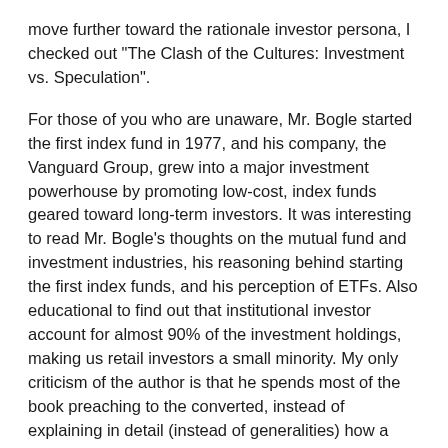move further toward the rationale investor persona, I checked out "The Clash of the Cultures: Investment vs. Speculation".
For those of you who are unaware, Mr. Bogle started the first index fund in 1977, and his company, the Vanguard Group, grew into a major investment powerhouse by promoting low-cost, index funds geared toward long-term investors. It was interesting to read Mr. Bogle's thoughts on the mutual fund and investment industries, his reasoning behind starting the first index funds, and his perception of ETFs. Also educational to find out that institutional investor account for almost 90% of the investment holdings, making us retail investors a small minority. My only criticism of the author is that he spends most of the book preaching to the converted, instead of explaining in detail (instead of generalities) how a long-term investor could prosper in today's markets. The book reminded me a lot of a university text, until I reached the second half of the last chapter where the author presented "Ten Simple Rules for Investors" that although general, were pretty useful.